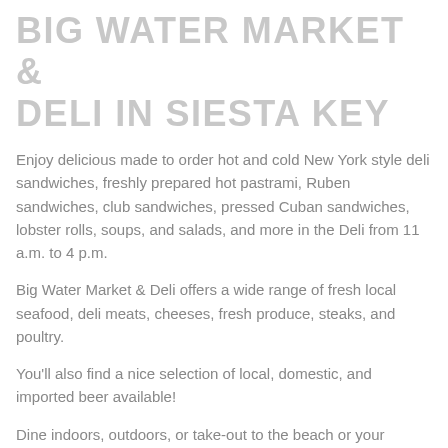BIG WATER MARKET & DELI IN SIESTA KEY
Enjoy delicious made to order hot and cold New York style deli sandwiches, freshly prepared hot pastrami, Ruben sandwiches, club sandwiches, pressed Cuban sandwiches, lobster rolls, soups, and salads, and more in the Deli from 11 a.m. to 4 p.m.
Big Water Market & Deli offers a wide range of fresh local seafood, deli meats, cheeses, fresh produce, steaks, and poultry.
You'll also find a nice selection of local, domestic, and imported beer available!
Dine indoors, outdoors, or take-out to the beach or your vacation rental.